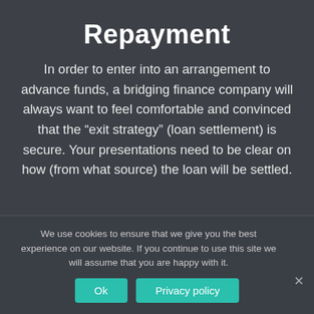Repayment
In order to enter into an arrangement to advance funds, a bridging finance company will always want to feel comfortable and convinced that the “exit strategy” (loan settlement) is secure. Your presentations need to be clear on how (from what source) the loan will be settled.
We use cookies to ensure that we give you the best experience on our website. If you continue to use this site we will assume that you are happy with it.